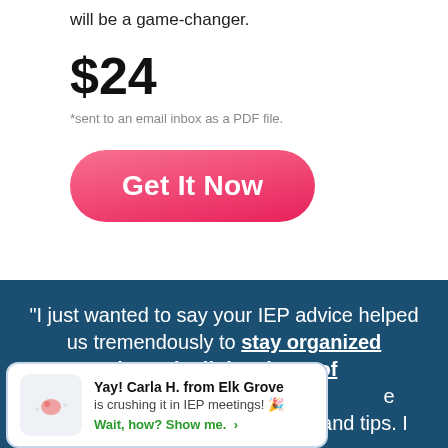will be a game-changer.
$24
*sent to an email inbox as a PDF file.
[Figure (other): Pink/red rounded pill-shaped call-to-action button with white text reading 'Get It Now']
"I just wanted to say your IEP advice helped us tremendously to stay organized through all the chaos of
[Figure (other): Popup notification: 'Yay! Carla H. from Elk Grove is crushing it in IEP meetings! Wait, how? Show me. >']
on was only support of your IEP information and tips. I was